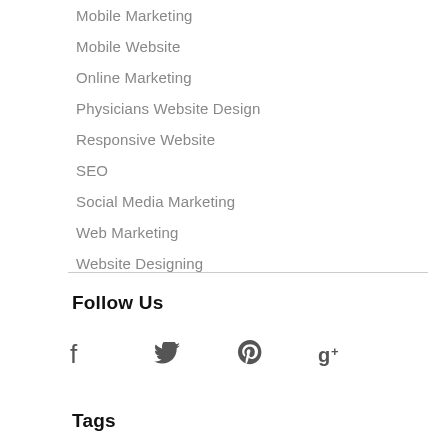Mobile Marketing
Mobile Website
Online Marketing
Physicians Website Design
Responsive Website
SEO
Social Media Marketing
Web Marketing
Website Designing
Follow Us
[Figure (other): Social media icons: Facebook, Twitter, Pinterest, Google+]
Tags